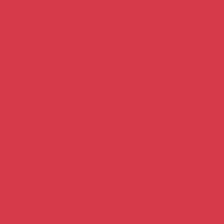Get Started
Find a branch
Services
Courses
Buy a franchise
Our business
The package
Our support
Our franchisees
FAQ's
Career
Dog walker
Home boarder
Pet sitter
House sitter
Business support
Legal
Terms of business
Service agreement
Cookie Policy
Website terms of use
Website disclaimer